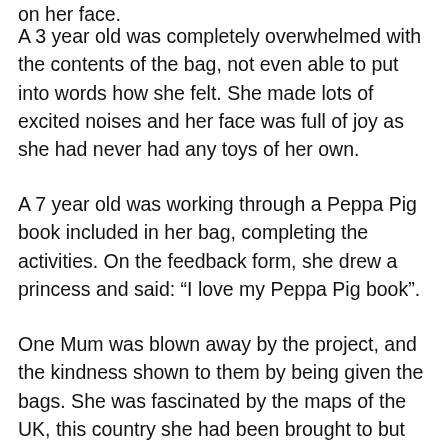on her face.
A 3 year old was completely overwhelmed with the contents of the bag, not even able to put into words how she felt. She made lots of excited noises and her face was full of joy as she had never had any toys of her own.
A 7 year old was working through a Peppa Pig book included in her bag, completing the activities. On the feedback form, she drew a princess and said: “I love my Peppa Pig book”.
One Mum was blown away by the project, and the kindness shown to them by being given the bags. She was fascinated by the maps of the UK, this country she had been brought to but knew so little about. She was interested to learn about the landmarks and